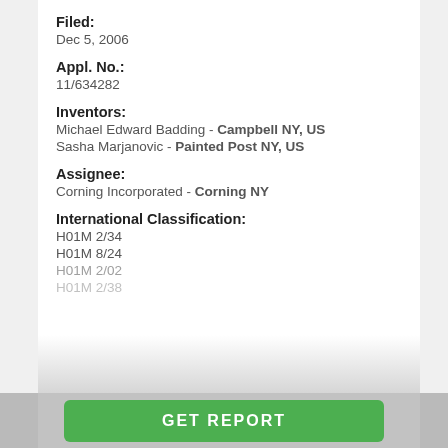Filed:
Dec 5, 2006
Appl. No.:
11/634282
Inventors:
Michael Edward Badding - Campbell NY, US
Sasha Marjanovic - Painted Post NY, US
Assignee:
Corning Incorporated - Corning NY
International Classification:
H01M 2/34
H01M 8/24
H01M 2/02
H01M 2/38
GET REPORT